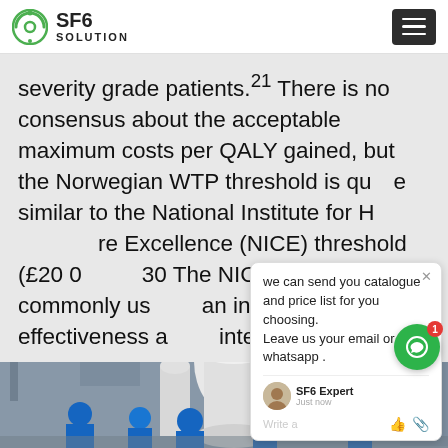SF6 SOLUTION
severity grade patients.21 There is no consensus about the acceptable maximum costs per QALY gained, but the Norwegian WTP threshold is quite similar to the National Institute for Health Care Excellence (NICE) threshold (£20 000–£30 000). The NICE threshold is commonly used as an indication of cost-effectiveness across international studies.
[Figure (screenshot): Chat popup widget showing message: 'we can send you catalogue and price list for you choosing. Leave us your email or whatsapp .' with SF6 Expert agent, just now timestamp, and write/like/attach icons]
[Figure (photo): Industrial site photo showing workers in blue hard hats and overalls working near large white electrical equipment (SF6 gas insulated switchgear), with cranes and industrial structures in background]